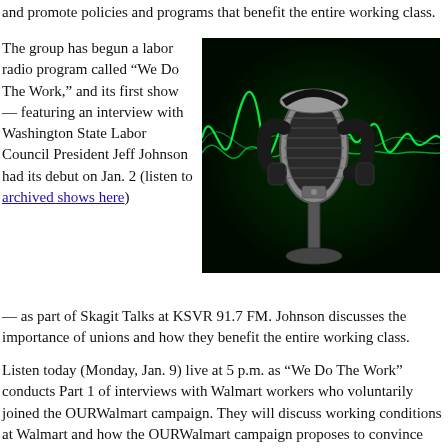and promote policies and programs that benefit the entire working class.
The group has begun a labor radio program called “We Do The Work,” and its first show — featuring an interview with Washington State Labor Council President Jeff Johnson had its debut on Jan. 2 (listen to archived shows here) — as part of Skagit Talks at KSVR 91.7 FM. Johnson discusses the importance of unions and how they benefit the entire working class.
[Figure (photo): A vintage microphone with headphones against a dark background with green sound wave visualizations]
Listen today (Monday, Jan. 9) live at 5 p.m. as “We Do The Work” conducts Part 1 of interviews with Walmart workers who voluntarily joined the OURWalmart campaign. They will discuss working conditions at Walmart and how the OURWalmart campaign proposes to convince Walmart to treat its employees with respect and to provide them with adequate wages and benefits. Part 2 will air next Monday, Jan. 16 at 5 p.m.